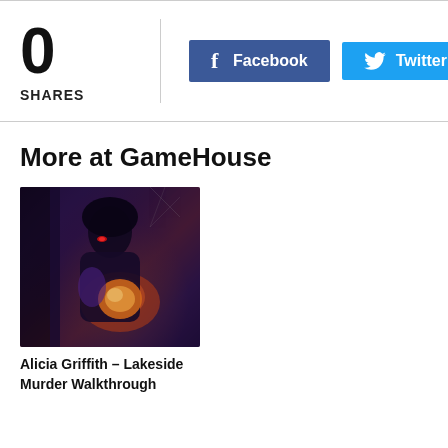0
SHARES
[Figure (screenshot): Facebook share button (blue) and Twitter share button (cyan/blue) side by side]
More at GameHouse
[Figure (illustration): Dark fantasy game artwork showing a figure holding a glowing orb, dark purple and orange tones]
Alicia Griffith – Lakeside Murder Walkthrough